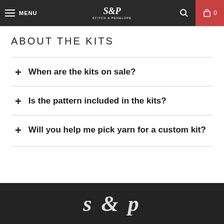MENU | S&P (Stitch & Penelope) | Search | Cart 0
ABOUT THE KITS
+ When are the kits on sale?
+ Is the pattern included in the kits?
+ Will you help me pick yarn for a custom kit?
S&P logo